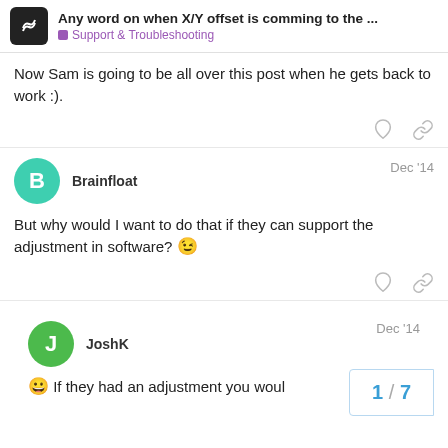Any word on when X/Y offset is comming to the ... Support & Troubleshooting
Now Sam is going to be all over this post when he gets back to work :).
Brainfloat  Dec '14
But why would I want to do that if they can support the adjustment in software? 😉
JoshK  Dec '14
😀 If they had an adjustment you woul
1 / 7